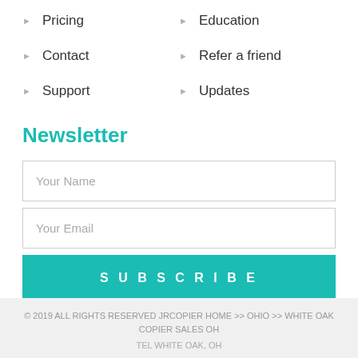Pricing
Education
Contact
Refer a friend
Support
Updates
Newsletter
Your Name
Your Email
SUBSCRIBE
© 2019 ALL RIGHTS RESERVED JRCOPIER HOME >> OHIO >> WHITE OAK COPIER SALES OH
TEL WHITE OAK, OH